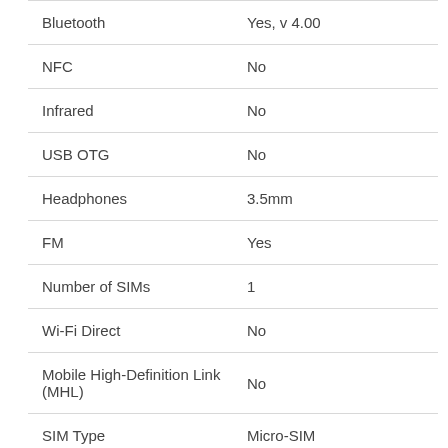| Feature | Value |
| --- | --- |
| Bluetooth | Yes, v 4.00 |
| NFC | No |
| Infrared | No |
| USB OTG | No |
| Headphones | 3.5mm |
| FM | Yes |
| Number of SIMs | 1 |
| Wi-Fi Direct | No |
| Mobile High-Definition Link (MHL) | No |
| SIM Type | Micro-SIM |